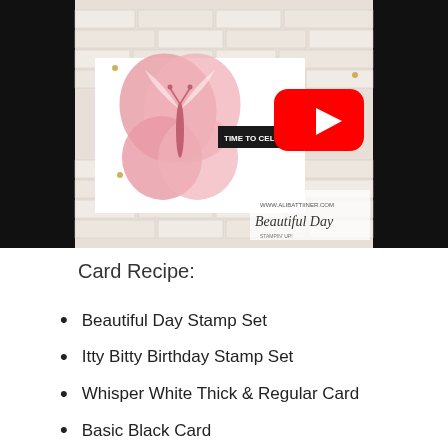[Figure (screenshot): YouTube video thumbnail showing a handmade card with a large pink butterfly on a white brick-textured background. A red YouTube play button is centered on the image. The card has a black banner reading 'TIME TO CELEBRATE!' and a watermark in the bottom right reading 'www.alibattiiner.com Beautiful Day'.]
Card Recipe:
Beautiful Day Stamp Set
Itty Bitty Birthday Stamp Set
Whisper White Thick & Regular Card
Basic Black Card